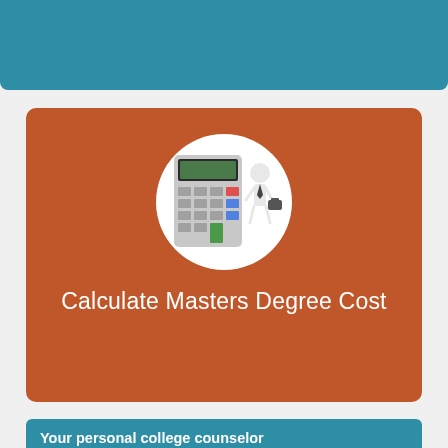[Figure (illustration): Teal/blue decorative banner at the top of the page]
[Figure (illustration): Orange rounded card with a circular white icon showing a calculator and a businessman figure, titled 'Calculate Masters Degree Cost']
Calculate Masters Degree Cost
Your personal college counselor
Best Graduate Programs in Occupational Therapy/Therapist
Most affordable Masters programs in Occupational...